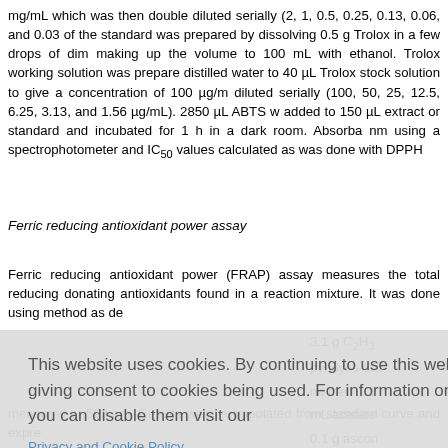mg/mL which was then double diluted serially (2, 1, 0.5, 0.25, 0.13, 0.06, and 0.03 of the standard was prepared by dissolving 0.5 g Trolox in a few drops of dim making up the volume to 100 mL with ethanol. Trolox working solution was prepare distilled water to 40 µL Trolox stock solution to give a concentration of 100 µg/m diluted serially (100, 50, 25, 12.5, 6.25, 3.13, and 1.56 µg/mL). 2850 µL ABTS w added to 150 µL extract or standard and incubated for 1 h in a dark room. Absorba nm using a spectrophotometer and IC50 values calculated as was done with DPPH
Ferric reducing antioxidant power assay
Ferric reducing antioxidant power (FRAP) assay measures the total reducing donating antioxidants found in a reaction mixture. It was done using method as de 3.1 g C2H3 pyridyl-s-tria nd then 1.1 mL acetate 0.1 g ascon n of the sta double dilu listilled wate ared FRAP C for 4 mi
measured at 593 nm. Results were extrapolated from standard curve and expre
[Figure (screenshot): Cookie consent overlay with text 'This website uses cookies. By continuing to use this website you are giving consent to cookies being used. For information on cookies and how you can disable them visit our Privacy and Cookie Policy.' and a red 'AGREE & PROCEED' button.]